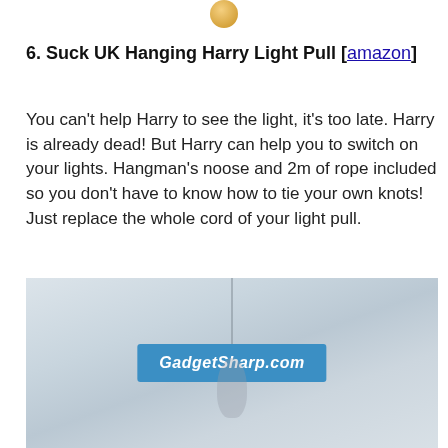[Figure (photo): Small gold/orange circular object (partial) visible at the top center of the page, cropped.]
6. Suck UK Hanging Harry Light Pull [amazon]
You can't help Harry to see the light, it's too late. Harry is already dead! But Harry can help you to switch on your lights. Hangman's noose and 2m of rope included so you don't have to know how to tie your own knots! Just replace the whole cord of your light pull.
[Figure (photo): Product photo of the Suck UK Hanging Harry Light Pull showing a light-colored wall/ceiling background with a hanging cord/silhouette. A blue watermark banner reading 'GadgetSharp.com' is overlaid in the center.]